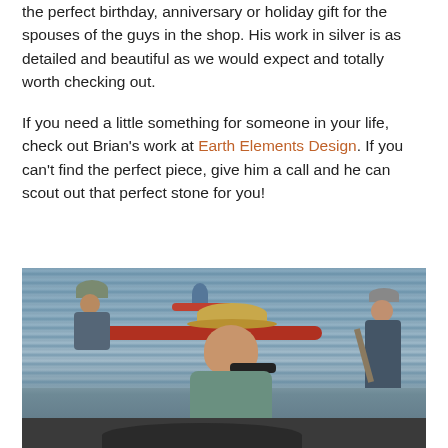the perfect birthday, anniversary or holiday gift for the spouses of the guys in the shop. His work in silver is as detailed and beautiful as we would expect and totally worth checking out.
If you need a little something for someone in your life, check out Brian's work at Earth Elements Design. If you can't find the perfect piece, give him a call and he can scout out that perfect stone for you!
[Figure (photo): Outdoor photo showing a man in a wide-brimmed hat and sunglasses in the foreground, with red kayaks and other people on water in the background.]